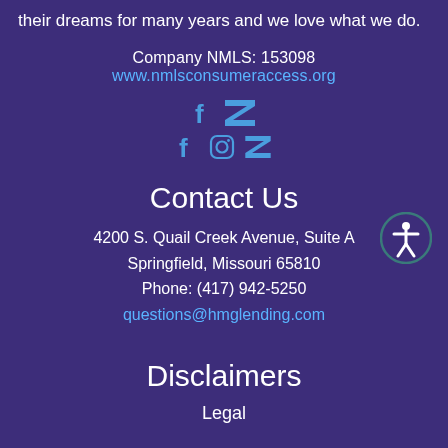their dreams for many years and we love what we do.
Company NMLS: 153098
www.nmlsconsumeraccess.org
[Figure (illustration): Social media icons: Facebook and Zillow (two rows)]
Contact Us
4200 S. Quail Creek Avenue, Suite A
Springfield, Missouri 65810
Phone: (417) 942-5250
questions@hmglending.com
Disclaimers
Legal